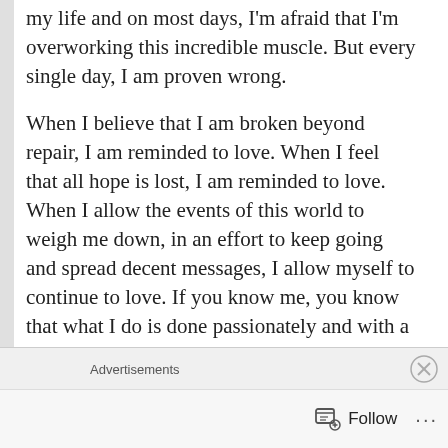my life and on most days, I'm afraid that I'm overworking this incredible muscle. But every single day, I am proven wrong.
When I believe that I am broken beyond repair, I am reminded to love. When I feel that all hope is lost, I am reminded to love. When I allow the events of this world to weigh me down, in an effort to keep going and spread decent messages, I allow myself to continue to love. If you know me, you know that what I do is done passionately and with a direct focus on love. I cannot turn it off. I have been in the healthcare industry for fifteen years because all I have ever wanted to do was help others in some way, shape, or form. I am the glue in my
Advertisements
Follow ...